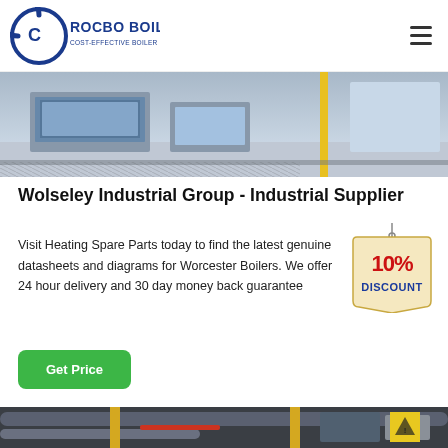[Figure (logo): Rocbo Boiler logo — blue circular icon with letter C and text 'ROCBO BOILER' in dark blue, subtitle 'COST-EFFECTIVE BOILER SUPPLIER']
[Figure (photo): Industrial/office scene showing computer workstations and equipment, partially cropped at top]
Wolseley Industrial Group - Industrial Supplier
Visit Heating Spare Parts today to find the latest genuine datasheets and diagrams for Worcester Boilers. We offer 24 hour delivery and 30 day money back guarantee
[Figure (illustration): 10% DISCOUNT badge — hanging tag shape with red '10%' text and blue 'DISCOUNT' text on cream/tan background]
[Figure (photo): Industrial boiler room with pipes, yellow pillars, industrial machinery and a yellow warning sign in bottom right corner]
Get Price